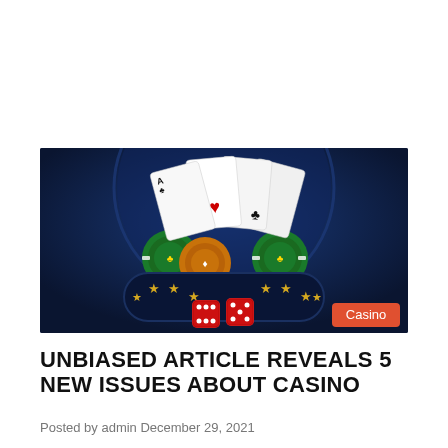[Figure (illustration): Casino themed illustration on dark blue background showing four Ace playing cards fanned out, casino chips (green and red/orange), two red dice, and a dark blue banner/plaque with gold stars. A red 'Casino' label badge appears in the lower right corner.]
UNBIASED ARTICLE REVEALS 5 NEW ISSUES ABOUT CASINO
Posted by admin December 29, 2021